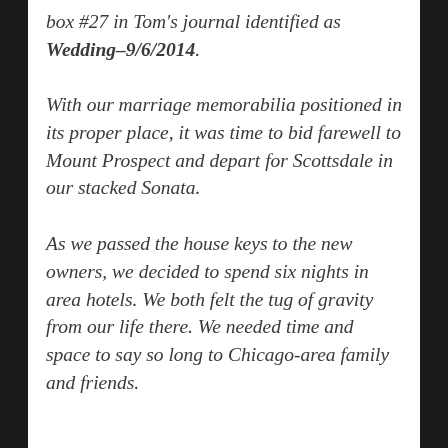box #27 in Tom's journal identified as Wedding–9/6/2014.
With our marriage memorabilia positioned in its proper place, it was time to bid farewell to Mount Prospect and depart for Scottsdale in our stacked Sonata.
As we passed the house keys to the new owners, we decided to spend six nights in area hotels. We both felt the tug of gravity from our life there. We needed time and space to say so long to Chicago-area family and friends.